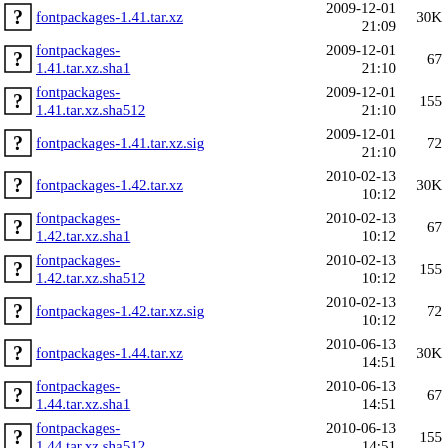fontpackages-1.41.tar.xz  2009-12-01 21:09  30K
fontpackages-1.41.tar.xz.sha1  2009-12-01 21:10  67
fontpackages-1.41.tar.xz.sha512  2009-12-01 21:10  155
fontpackages-1.41.tar.xz.sig  2009-12-01 21:10  72
fontpackages-1.42.tar.xz  2010-02-13 10:12  30K
fontpackages-1.42.tar.xz.sha1  2010-02-13 10:12  67
fontpackages-1.42.tar.xz.sha512  2010-02-13 10:12  155
fontpackages-1.42.tar.xz.sig  2010-02-13 10:12  72
fontpackages-1.44.tar.xz  2010-06-13 14:51  30K
fontpackages-1.44.tar.xz.sha1  2010-06-13 14:51  67
fontpackages-1.44.tar.xz.sha512  2010-06-13 14:51  155
fontpackages-1.44.tar.xz.sig  2010-06-13 14:51  72